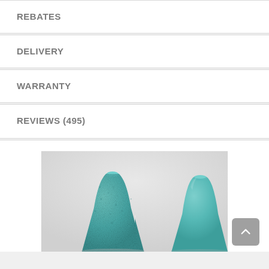REBATES
DELIVERY
WARRANTY
REVIEWS (495)
[Figure (photo): Two teal/turquoise ceramic vases with textured surface, conical shape, photographed against a light grey background. The left vase has a more textured surface than the right.]